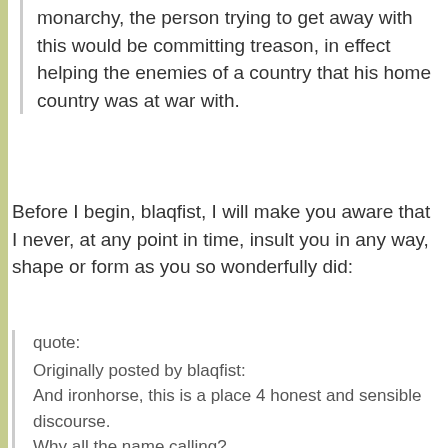monarchy, the person trying to get away with this would be committing treason, in effect helping the enemies of a country that his home country was at war with.
Before I begin, blaqfist, I will make you aware that I never, at any point in time, insult you in any way, shape or form as you so wonderfully did:
quote:
Originally posted by blaqfist:
And ironhorse, this is a place 4 honest and sensible discourse.
Why all the name calling?

You are the one who looks half gay on your